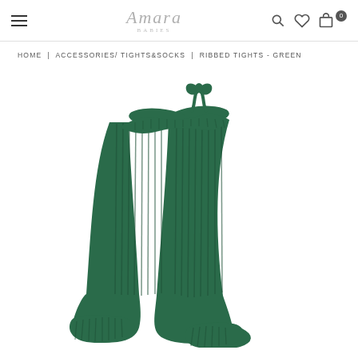Amara
HOME | ACCESSORIES/ TIGHTS&SOCKS | RIBBED TIGHTS - GREEN
[Figure (photo): Green ribbed tights laid flat showing both legs and feet, with a bow/tie at the waistband top, knitted texture visible throughout, dark forest green color.]